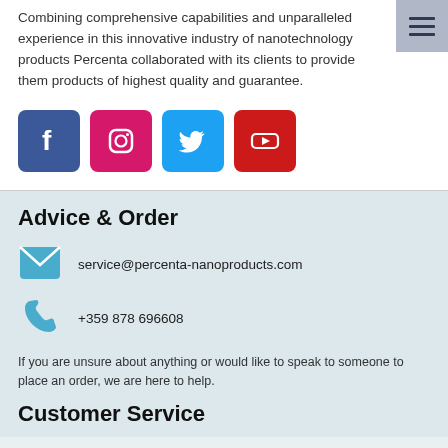Combining comprehensive capabilities and unparalleled experience in this innovative industry of nanotechnology products Percenta collaborated with its clients to provide them products of highest quality and guarantee.
[Figure (other): Four social media icons: Facebook (blue), Instagram (pink/red), Twitter (light blue), YouTube (red)]
Advice & Order
service@percenta-nanoproducts.com
+359 878 696608
If you are unsure about anything or would like to speak to someone to place an order, we are here to help.
Customer Service